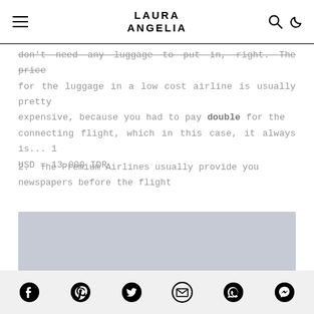LAURA ANGELIA
don't need any luggage to put in, right. The price for the luggage in a low cost airline is usually pretty expensive, because you had to pay double for the connecting flight, which in this case, it always is... 1 USD = 13.000 IDR
2. The Premium Airlines usually provide you newspapers before the flight
[Figure (photo): Gray placeholder image block]
Social share icons: Facebook, Pinterest, Twitter, Email, WhatsApp, Messenger